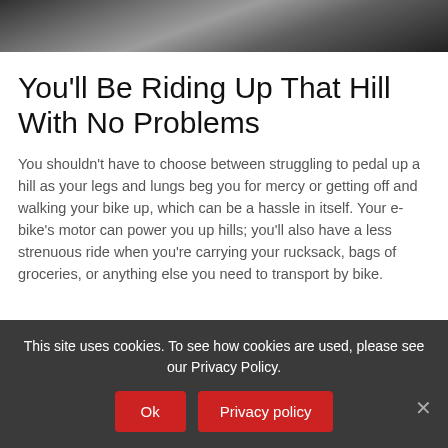[Figure (photo): Dark black and white photo strip showing a partial view, likely a cycling/bike scene]
You'll Be Riding Up That Hill With No Problems
You shouldn't have to choose between struggling to pedal up a hill as your legs and lungs beg you for mercy or getting off and walking your bike up, which can be a hassle in itself. Your e-bike's motor can power you up hills; you'll also have a less strenuous ride when you're carrying your rucksack, bags of groceries, or anything else you need to transport by bike.
This site uses cookies. To see how cookies are used, please see our Privacy Policy.
Ok
Privacy policy